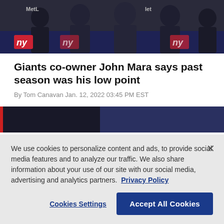[Figure (photo): Group of men in suits posing in front of a NY Giants branded backdrop with MetLife logo visible]
Giants co-owner John Mara says past season was his low point
By Tom Canavan Jan. 12, 2022 03:45 PM EST
[Figure (photo): Partial view of a second photo related to the Giants story]
We use cookies to personalize content and ads, to provide social media features and to analyze our traffic. We also share information about your use of our site with our social media, advertising and analytics partners.  Privacy Policy
Cookies Settings | Accept All Cookies